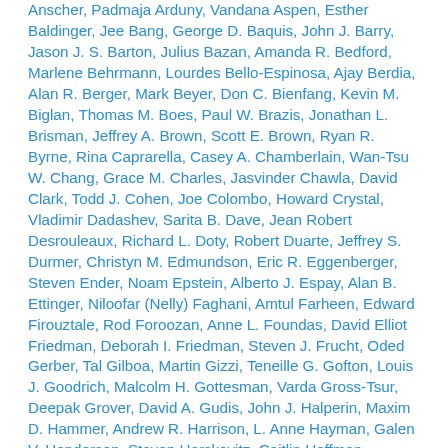Anscher, Padmaja Arduny, Vandana Aspen, Esther Baldinger, Jee Bang, George D. Baquis, John J. Barry, Jason J. S. Barton, Julius Bazan, Amanda R. Bedford, Marlene Behrmann, Lourdes Bello-Espinosa, Ajay Berdia, Alan R. Berger, Mark Beyer, Don C. Bienfang, Kevin M. Biglan, Thomas M. Boes, Paul W. Brazis, Jonathan L. Brisman, Jeffrey A. Brown, Scott E. Brown, Ryan R. Byrne, Rina Caprarella, Casey A. Chamberlain, Wan-Tsu W. Chang, Grace M. Charles, Jasvinder Chawla, David Clark, Todd J. Cohen, Joe Colombo, Howard Crystal, Vladimir Dadashev, Sarita B. Dave, Jean Robert Desrouleaux, Richard L. Doty, Robert Duarte, Jeffrey S. Durmer, Christyn M. Edmundson, Eric R. Eggenberger, Steven Ender, Noam Epstein, Alberto J. Espay, Alan B. Ettinger, Niloofar (Nelly) Faghani, Amtul Farheen, Edward Firouztale, Rod Foroozan, Anne L. Foundas, David Elliot Friedman, Deborah I. Friedman, Steven J. Frucht, Oded Gerber, Tal Gilboa, Martin Gizzi, Teneille G. Gofton, Louis J. Goodrich, Malcolm H. Gottesman, Varda Gross-Tsur, Deepak Grover, David A. Gudis, John J. Halperin, Maxim D. Hammer, Andrew R. Harrison, L. Anne Hayman, Galen V. Henderson, Steven Herskovitz, Caitlin Hoffman, Laryssa A. Huryn, Andres M. Kanner, Gary R. Kaplan, Bashar...